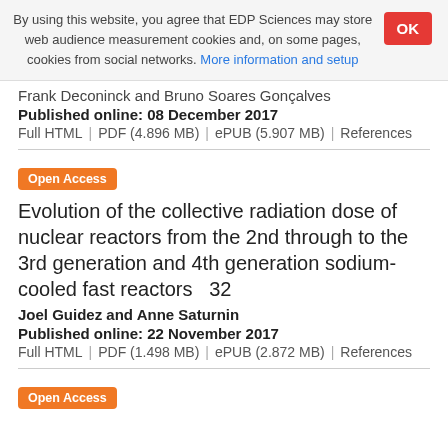By using this website, you agree that EDP Sciences may store web audience measurement cookies and, on some pages, cookies from social networks. More information and setup
Frank Deconinck and Bruno Soares Gonçalves
Published online: 08 December 2017
Full HTML | PDF (4.896 MB) | ePUB (5.907 MB) | References
Open Access
Evolution of the collective radiation dose of nuclear reactors from the 2nd through to the 3rd generation and 4th generation sodium-cooled fast reactors   32
Joel Guidez and Anne Saturnin
Published online: 22 November 2017
Full HTML | PDF (1.498 MB) | ePUB (2.872 MB) | References
Open Access